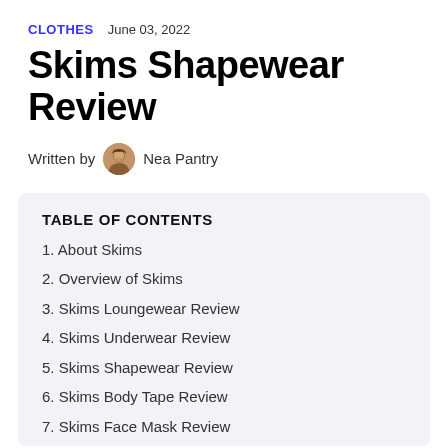CLOTHES   June 03, 2022
Skims Shapewear Review
Written by  Nea Pantry
TABLE OF CONTENTS
1. About Skims
2. Overview of Skims
3. Skims Loungewear Review
4. Skims Underwear Review
5. Skims Shapewear Review
6. Skims Body Tape Review
7. Skims Face Mask Review